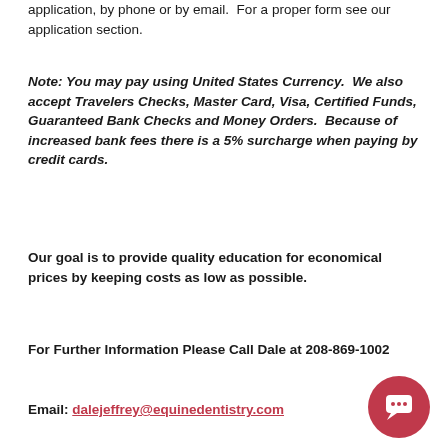application, by phone or by email.  For a proper form see our application section.
Note: You may pay using United States Currency.  We also accept Travelers Checks, Master Card, Visa, Certified Funds, Guaranteed Bank Checks and Money Orders.  Because of increased bank fees there is a 5% surcharge when paying by credit cards.
Our goal is to provide quality education for economical prices by keeping costs as low as possible.
For Further Information Please Call Dale at 208-869-1002
Email: dalejeffrey@equinedentistry.com